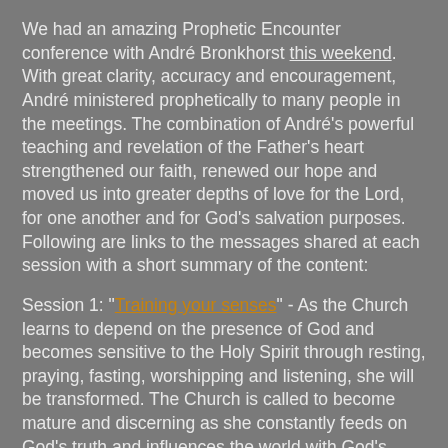We had an amazing Prophetic Encounter conference with André Bronkhorst this weekend. With great clarity, accuracy and encouragement, André ministered prophetically to many people in the meetings. The combination of André's powerful teaching and revelation of the Father's heart strengthened our faith, renewed our hope and moved us into greater depths of love for the Lord, for one another and for God's salvation purposes. Following are links to the messages shared at each session with a short summary of the content:
Session 1: "Training your senses" - As the Church learns to depend on the presence of God and becomes sensitive to the Holy Spirit through resting, praying, fasting, worshipping and listening, she will be transformed. The Church is called to become mature and discerning as she constantly feeds on God's truth and influences the world with God's presence (Acts 1:8; 10:1-4; Heb 5:14).
Session 2: "Filled with the knowledge of the glory" - Looking at 1 Cor 12:7, André explained the difference between words of knowledge, words of wisdom and prophecy. He then spoke to us about the glory of God and how believers need